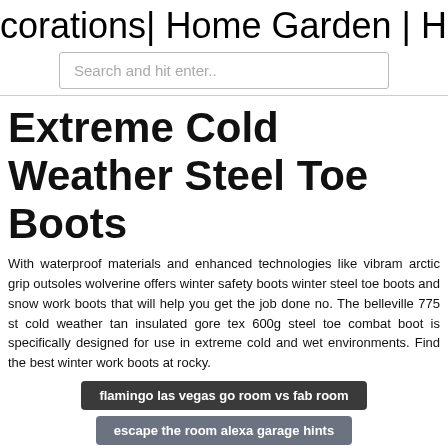corations| Home Garden | Home Fa…
Search and hit enter..
Extreme Cold Weather Steel Toe Boots
With waterproof materials and enhanced technologies like vibram arctic grip outsoles wolverine offers winter safety boots winter steel toe boots and snow work boots that will help you get the job done no. The belleville 775 st cold weather tan insulated gore tex 600g steel toe combat boot is specifically designed for use in extreme cold and wet environments. Find the best winter work boots at rocky.
flamingo las vegas go room vs fab room
escape the room alexa garage hints
exped down pillow review
first year anniversary gift ideas for him